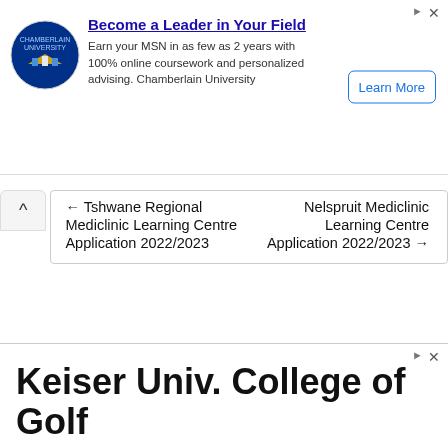[Figure (other): Advertisement banner for Chamberlain University MSN program with logo, headline, body text, and Learn More button]
← Tshwane Regional Mediclinic Learning Centre Application 2022/2023
Nelspruit Mediclinic Learning Centre Application 2022/2023 →
Search
[Figure (other): Advertisement banner for Keiser Univ. College of Golf with headline and subheading Pursue Your Golf Passion]